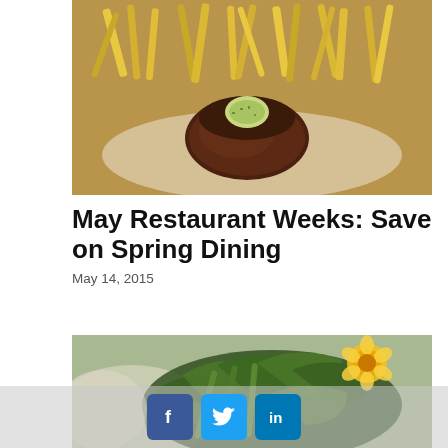[Figure (photo): Close-up photo of a grilled steak topped with a herb butter medallion, served with French fries on a white plate]
May Restaurant Weeks: Save on Spring Dining
May 14, 2015
[Figure (photo): Close-up photo of a fresh green salad with spinach leaves and a yellow flower garnish]
[Figure (other): Social media sharing icons: Facebook, Twitter, LinkedIn]